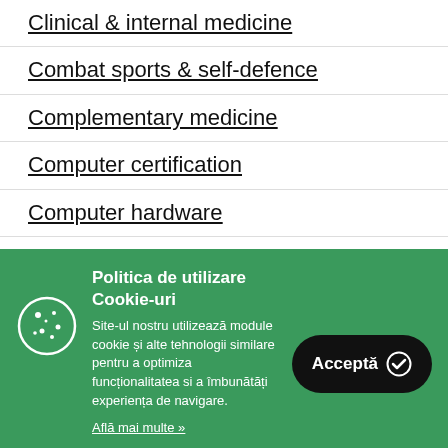Clinical & internal medicine
Combat sports & self-defence
Complementary medicine
Computer certification
Computer hardware
Computer networking & communications
Politica de utilizare Cookie-uri
Site-ul nostru utilizează module cookie și alte tehnologii similare pentru a optimiza funcționalitatea si a îmbunătăți experiența de navigare.
Află mai multe »
Acceptă